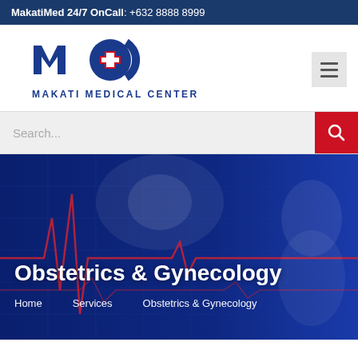MakatiMed 24/7 OnCall: +632 8888 8999
[Figure (logo): Makati Medical Center logo with stylized MMC letters and red cross, blue circle, and text MAKATI MEDICAL CENTER]
[Figure (infographic): Hero banner with dark blue background showing faint ECG/heartbeat waveform lines in red and a blurred medical professional figure on the right]
Obstetrics & Gynecology
Home   Services   Obstetrics & Gynecology